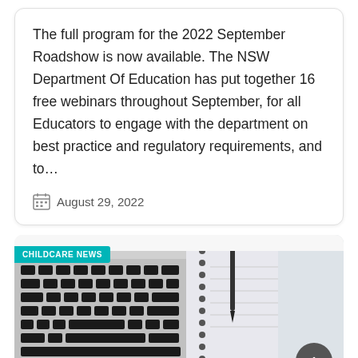The full program for the 2022 September Roadshow is now available. The NSW Department Of Education has put together 16 free webinars throughout September, for all Educators to engage with the department on best practice and regulatory requirements, and to…
August 29, 2022
[Figure (photo): Photo of a laptop keyboard beside spiral-bound notebooks with binder clips, white background. Has a 'CHILDCARE NEWS' badge overlay in teal and a scroll-to-top button.]